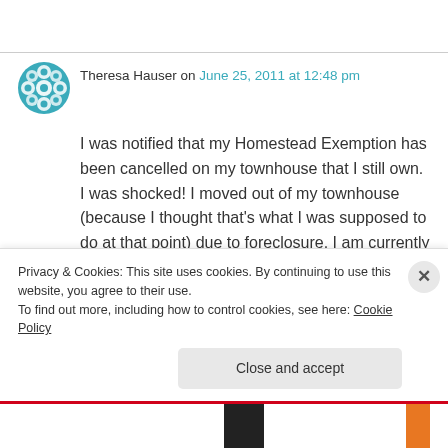Theresa Hauser on June 25, 2011 at 12:48 pm
I was notified that my Homestead Exemption has been cancelled on my townhouse that I still own. I was shocked! I moved out of my townhouse (because I thought that's what I was supposed to do at that point) due to foreclosure. I am currently renting an apt. and will be moving back in to my townhouse on August 1st 2011. I was able to stop the foreclosure process due to
Privacy & Cookies: This site uses cookies. By continuing to use this website, you agree to their use.
To find out more, including how to control cookies, see here: Cookie Policy